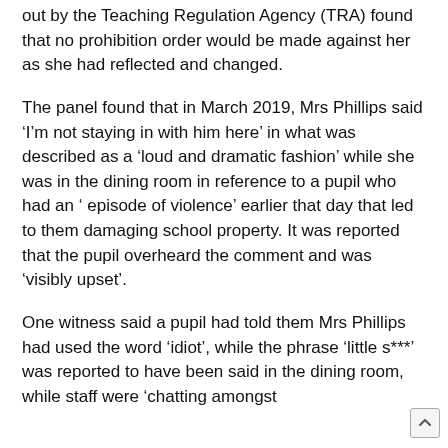out by the Teaching Regulation Agency (TRA) found that no prohibition order would be made against her as she had reflected and changed.
The panel found that in March 2019, Mrs Phillips said ‘I’m not staying in with him here’ in what was described as a ‘loud and dramatic fashion’ while she was in the dining room in reference to a pupil who had an ‘ episode of violence’ earlier that day that led to them damaging school property. It was reported that the pupil overheard the comment and was ‘visibly upset’.
One witness said a pupil had told them Mrs Phillips had used the word ‘idiot’, while the phrase ‘little s***’ was reported to have been said in the dining room, while staff were ‘chatting amongst